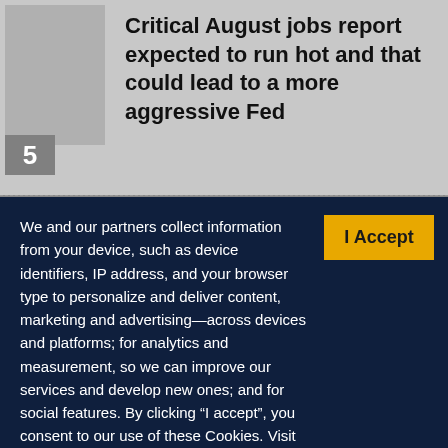[Figure (other): Thumbnail placeholder image, gray rectangle with number badge '5']
Critical August jobs report expected to run hot and that could lead to a more aggressive Fed
We and our partners collect information from your device, such as device identifiers, IP address, and your browser type to personalize and deliver content, marketing and advertising—across devices and platforms; for analytics and measurement, so we can improve our services and develop new ones; and for social features. By clicking “I accept”, you consent to our use of these Cookies. Visit our Privacy Policy to learn more.
YOUR USE OF THIS SITE SIGNIFIES YOUR AGREEMENT TO THIS PRIVACY POLICY.